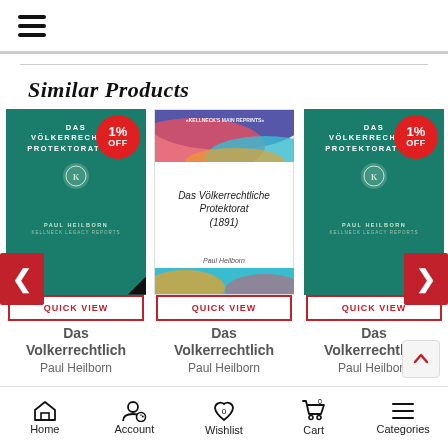☰ (hamburger menu)
Similar Products
[Figure (screenshot): Product card 1: Das Volkerrechtlich book cover (teal) with 1% OFF badge and QUICK VIEW button]
[Figure (screenshot): Product card 2: Das Volkerrechtliche Protektorat (1891) book cover (white/colorful) with QUICK VIEW button]
[Figure (screenshot): Product card 3: Das Volkerrechtlich book cover (teal) with 1% OFF badge and QUICK VIEW button]
Das Volkerrechtlich
Paul Heilborn
Das Volkerrechtlich
Paul Heilborn
Das Volkerrechtlich
Paul Heilborn
Home  Account  Wishlist  Cart  Categories